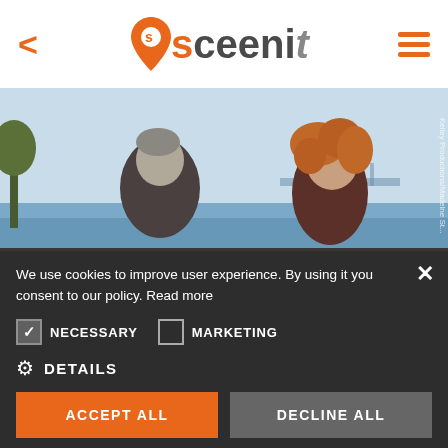< sceenit ☰
[Figure (photo): Movie still showing a middle-aged man with grey hair in dark clothing and a woman with curly red/auburn hair, sitting outdoors near a body of water with a city skyline in the background. Bright daylight scene.]
We use cookies to improve user experience. By using it you consent to our policy. Read more
NECESSARY   MARKETING
⚙ DETAILS
ACCEPT ALL   DECLINE ALL